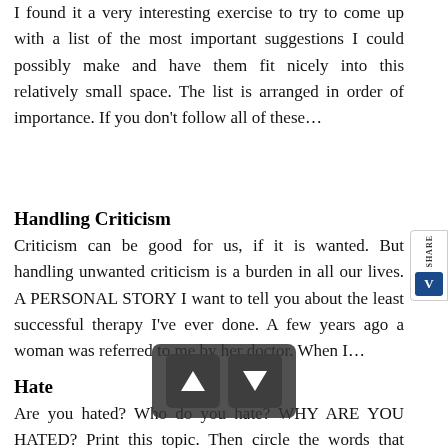I found it a very interesting exercise to try to come up with a list of the most important suggestions I could possibly make and have them fit nicely into this relatively small space. The list is arranged in order of importance. If you don't follow all of these…
Handling Criticism
Criticism can be good for us, if it is wanted. But handling unwanted criticism is a burden in all our lives. A PERSONAL STORY I want to tell you about the least successful therapy I've ever done. A few years ago a woman was referred to me by her doctor. When I…
Hate
Are you hated? Who do you hate? WHY ARE YOU HATED? Print this topic. Then circle the words that describe you. Sex: M… m… her Race: Black Brown Yellow White Red Mixed Schooling: Primary